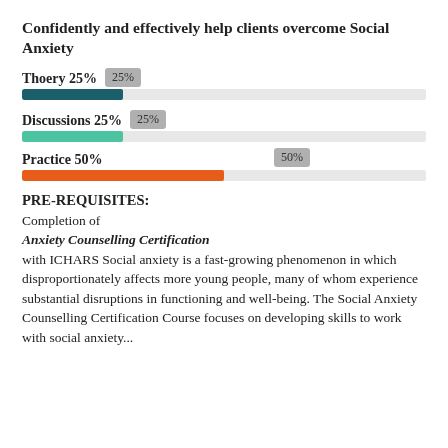Confidently and effectively help clients overcome Social Anxiety
[Figure (bar-chart): Course breakdown]
PRE-REQUISITES:
Completion of
Anxiety Counselling Certification
with ICHARS Social anxiety is a fast-growing phenomenon in which disproportionately affects more young people, many of whom experience substantial disruptions in functioning and well-being. The Social Anxiety Counselling Certification Course focuses on developing skills to work with social anxiety...